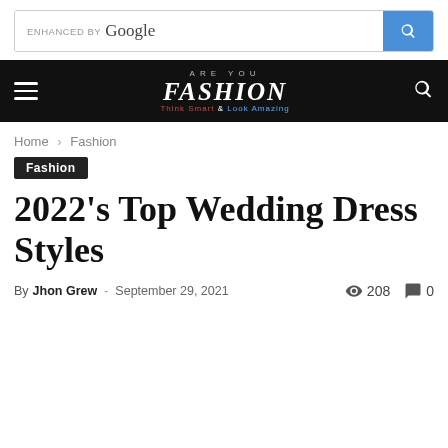ENHANCED BY Google [search bar]
Are You FASHION - Think Smart & Look Amazing [navigation bar]
Home › Fashion
Fashion
2022's Top Wedding Dress Styles
By Jhon Grew - September 29, 2021  208  0